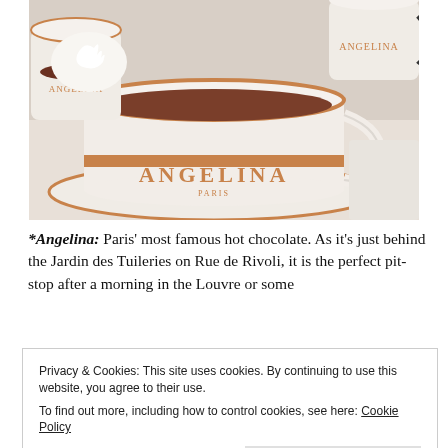[Figure (photo): Close-up photograph of Angelina branded hot chocolate cup and saucer on a white plate, with whipped cream cups and additional Angelina cups visible in the background.]
*Angelina: Paris' most famous hot chocolate. As it's just behind the Jardin des Tuileries on Rue de Rivoli, it is the perfect pit-stop after a morning in the Louvre or some [text continues below banner]
Privacy & Cookies: This site uses cookies. By continuing to use this website, you agree to their use.
To find out more, including how to control cookies, see here: Cookie Policy
one is no easy feat.